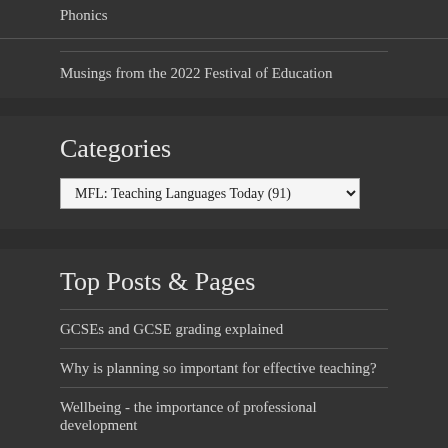Phonics
Musings from the 2022 Festival of Education
Categories
MFL: Teaching Languages Today  (91)
Top Posts & Pages
GCSEs and GCSE grading explained
Why is planning so important for effective teaching?
Wellbeing - the importance of professional development